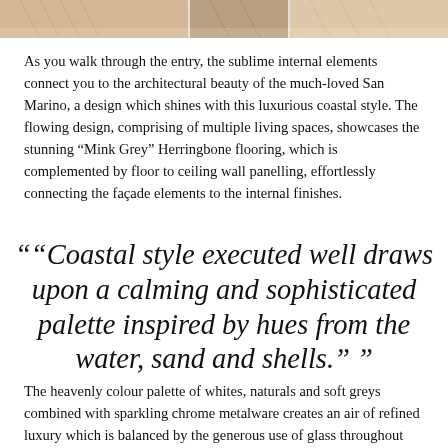[Figure (photo): Partial view of flooring and interior design elements — herringbone wood flooring and wall panelling in a coastal-style home]
As you walk through the entry, the sublime internal elements connect you to the architectural beauty of the much-loved San Marino, a design which shines with this luxurious coastal style. The flowing design, comprising of multiple living spaces, showcases the stunning “Mink Grey” Herringbone flooring, which is complemented by floor to ceiling wall panelling, effortlessly connecting the façade elements to the internal finishes.
““Coastal style executed well draws upon a calming and sophisticated palette inspired by hues from the water, sand and shells.” ”
The heavenly colour palette of whites, naturals and soft greys combined with sparkling chrome metalware creates an air of refined luxury which is balanced by the generous use of glass throughout the home creating an abundance of natural light and the opportunity to